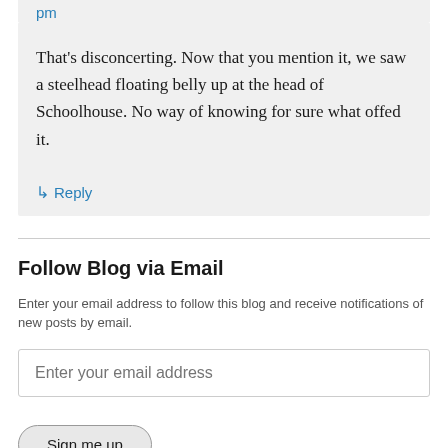pm
That's disconcerting. Now that you mention it, we saw a steelhead floating belly up at the head of Schoolhouse. No way of knowing for sure what offed it.
↳ Reply
Follow Blog via Email
Enter your email address to follow this blog and receive notifications of new posts by email.
Enter your email address
Sign me up